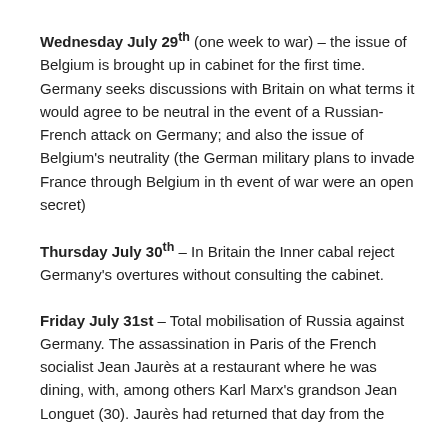Wednesday July 29th (one week to war) – the issue of Belgium is brought up in cabinet for the first time. Germany seeks discussions with Britain on what terms it would agree to be neutral in the event of a Russian-French attack on Germany; and also the issue of Belgium's neutrality (the German military plans to invade France through Belgium in th event of war were an open secret)
Thursday July 30th – In Britain the Inner cabal reject Germany's overtures without consulting the cabinet.
Friday July 31st – Total mobilisation of Russia against Germany. The assassination in Paris of the French socialist Jean Jaurès at a restaurant where he was dining, with, among others Karl Marx's grandson Jean Longuet (30). Jaurès had returned that day from the